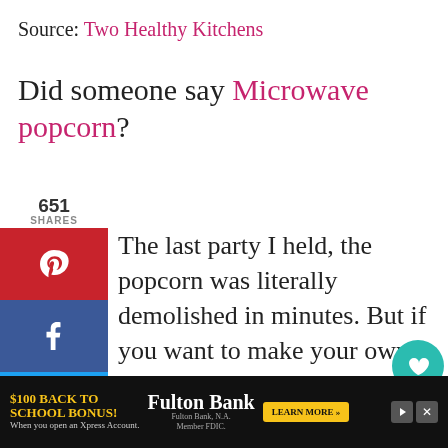Source: Two Healthy Kitchens
Did someone say Microwave popcorn?
651
SHARES
The last party I held, the popcorn was literally demolished in minutes. But if you want to make your own, and make it perfect each and every time, then this post will show you how.
And all you need is a paper bag. Oh
[Figure (infographic): Social sharing sidebar with Pinterest (red), Facebook (blue), Twitter (blue) buttons]
[Figure (infographic): Floating heart (teal, 653) and share buttons on right side]
[Figure (infographic): Advertisement banner at bottom: $100 Back to School Bonus, Fulton Bank, Learn More button]